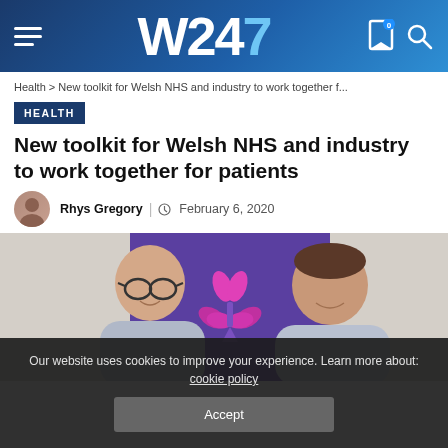W247
Health > New toolkit for Welsh NHS and industry to work together f...
HEALTH
New toolkit for Welsh NHS and industry to work together for patients
Rhys Gregory | February 6, 2020
[Figure (photo): Two men standing in front of a purple banner with a pink leaf/flower logo, smiling at the camera.]
Our website uses cookies to improve your experience. Learn more about: cookie policy
Accept